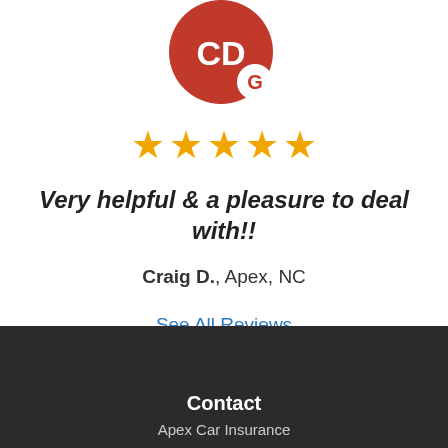[Figure (logo): Red circular avatar with initials 'CD' and a Google 'G' badge in the bottom-right corner]
[Figure (other): Five gold star rating icons]
Very helpful & a pleasure to deal with!!
Craig D., Apex, NC
See All Reviews
Contact
Apex Car Insurance